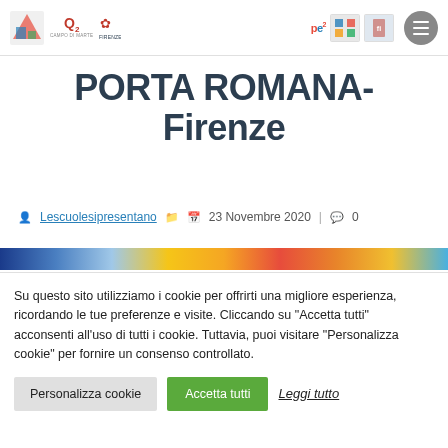Q2 Campo di Marte – Comune di Firenze navigation header
PORTA ROMANA- Firenze
Lescuolesipresentano  23 Novembre 2020 | 0
[Figure (photo): Colorful horizontal image strip showing part of an article featured image]
Su questo sito utilizziamo i cookie per offrirti una migliore esperienza, ricordando le tue preferenze e visite. Cliccando su "Accetta tutti" acconsenti all'uso di tutti i cookie. Tuttavia, puoi visitare "Personalizza cookie" per fornire un consenso controllato.
Personalizza cookie  Accetta tutti  Leggi tutto